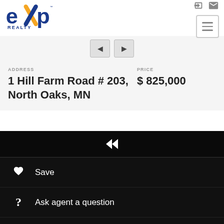[Figure (logo): eXp Realty logo with blue text and orange X accent]
ADDRESS
1 Hill Farm Road # 203, North Oaks, MN
PRICE
$ 825,000
Save
Ask agent a question
Request Showing